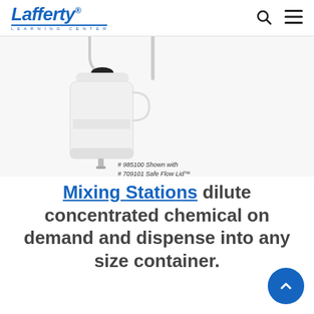Lafferty Learning Center
[Figure (photo): White plastic chemical jug/container with a black cap and tubing, shown with a Safe Flow Lid accessory. Caption reads: # 985100 Shown with # 709101 Safe Flow Lid™]
# 985100 Shown with # 709101 Safe Flow Lid™
Mixing Stations dilute concentrated chemical on demand and dispense into any size container.